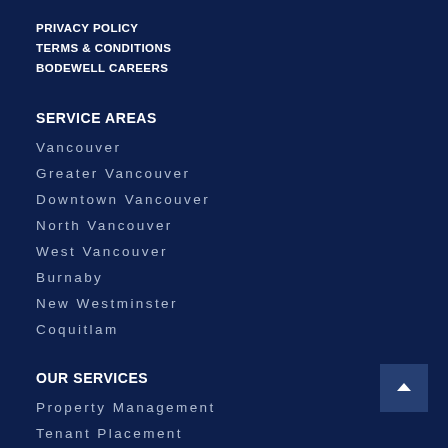PRIVACY POLICY
TERMS & CONDITIONS
BODEWELL CAREERS
SERVICE AREAS
Vancouver
Greater Vancouver
Downtown Vancouver
North Vancouver
West Vancouver
Burnaby
New Westminster
Coquitlam
OUR SERVICES
Property Management
Tenant Placement